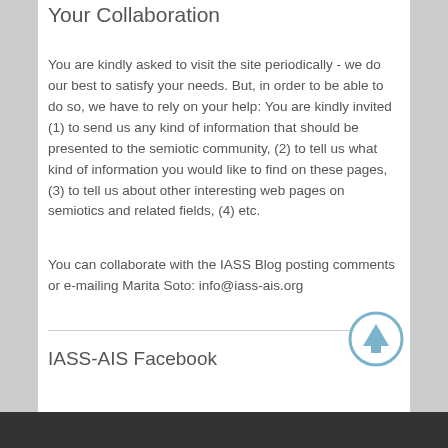Your Collaboration
You are kindly asked to visit the site periodically - we do our best to satisfy your needs. But, in order to be able to do so, we have to rely on your help: You are kindly invited (1) to send us any kind of information that should be presented to the semiotic community, (2) to tell us what kind of information you would like to find on these pages, (3) to tell us about other interesting web pages on semiotics and related fields, (4) etc.
You can collaborate with the IASS Blog posting comments or e-mailing Marita Soto: info@iass-ais.org
IASS-AIS Facebook
[Figure (other): Up arrow navigation button, circular with blue outline]